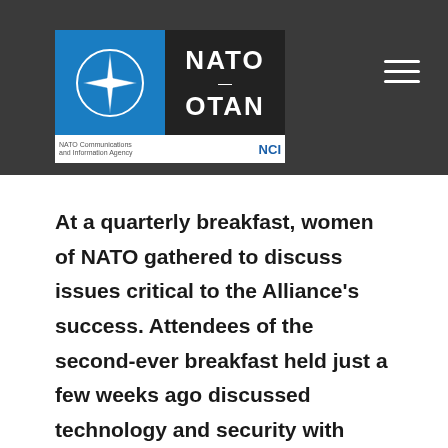NATO / OTAN - NATO Communications and Information Agency NCI
At a quarterly breakfast, women of NATO gathered to discuss issues critical to the Alliance's success. Attendees of the second-ever breakfast held just a few weeks ago discussed technology and security with Deputy Secretary General of NATO Rose Gottemoeller.
"We want to leverage the voices of women in international debates like this one," said Diana De Vi...